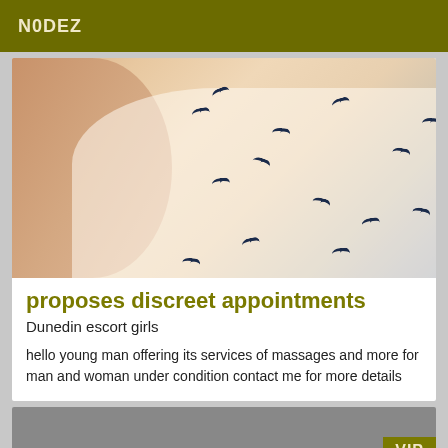N0DEZ
[Figure (photo): Close-up photo of a person wearing a white shirt with a dark blue bird print pattern. The left arm/shoulder is visible showing skin, and the torso fills most of the frame.]
proposes discreet appointments
Dunedin escort girls
hello young man offering its services of massages and more for man and woman under condition contact me for more details
[Figure (photo): Partially visible second card with dark grey background and a VIP badge in the lower right corner.]